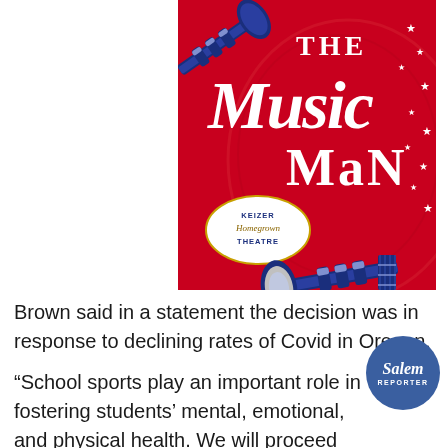[Figure (illustration): Promotional poster for 'The Music Man' by Keizer Homegrown Theatre. Red background with white decorative text reading 'THE Music MAN', blue trumpets/instruments, white stars, and an oval logo badge reading 'KEIZER Homegrown THEATRE'.]
Brown said in a statement the decision was in response to declining rates of Covid in Oregon.
“School sports play an important role in fostering students’ mental, emotional, and physical health. We will proceed with caution, to ensure that teams are following health and